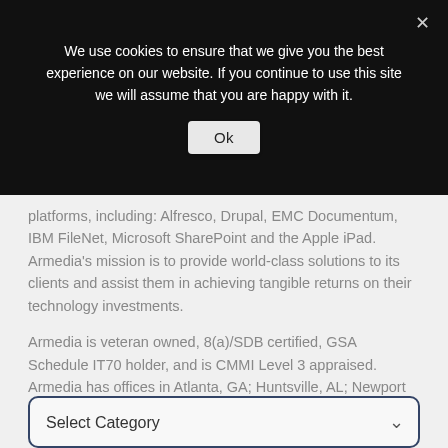We use cookies to ensure that we give you the best experience on our website. If you continue to use this site we will assume that you are happy with it.
Ok
platforms, including: Alfresco, Drupal, EMC Documentum, IBM FileNet, Microsoft SharePoint and the Apple iPad. Armedia's mission is to provide world-class solutions to its clients and assist them in achieving tangible returns on their technology investments.
Armedia is veteran owned, 8(a)/SDB certified, GSA Schedule IT70 holder, and is CMMI Level 3 appraised. Armedia has offices in Atlanta, GA; Huntsville, AL; Newport News, VA; and Vienna, VA. For more information visit Armedia's website at https://www.armedia.com/
Select Category